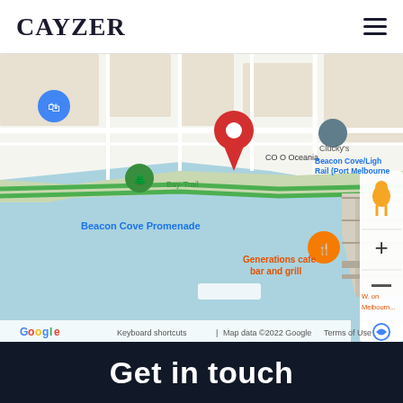CAYZER
[Figure (map): Google Maps screenshot showing Beacon Cove area, Port Melbourne. Features a red location pin marker, blue location marker for a shopping area, green Bay-Trail path, labels for Beacon Cove Promenade, Clucky's, Beacon Cove/Light Rail (Port Melbourne), Generations cafe bar and grill, COMO Oceania, Google logo and map attribution text. Map controls visible on right: pegman icon, zoom + and - buttons.]
Get in touch